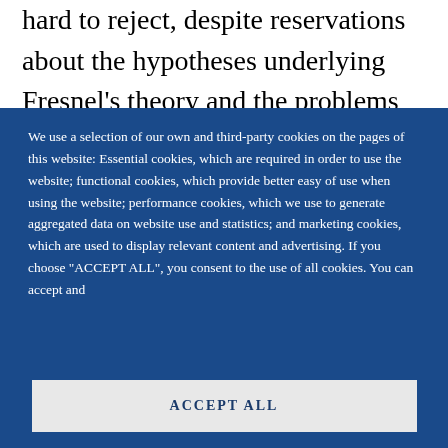hard to reject, despite reservations about the hypotheses underlying Fresnel's theory and the problems posed by the newly observed absorption phenomena. It was a remarkable
We use a selection of our own and third-party cookies on the pages of this website: Essential cookies, which are required in order to use the website; functional cookies, which provide better easy of use when using the website; performance cookies, which we use to generate aggregated data on website use and statistics; and marketing cookies, which are used to display relevant content and advertising. If you choose "ACCEPT ALL", you consent to the use of all cookies. You can accept and
ACCEPT ALL